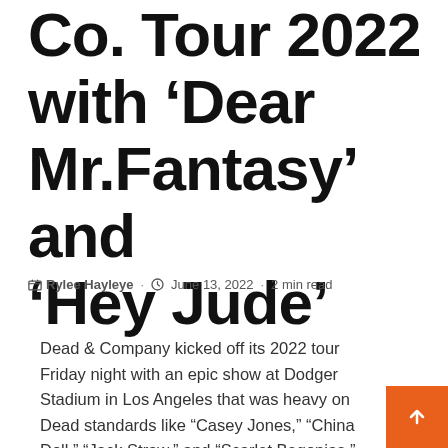Co. Tour 2022 with 'Dear Mr.Fantasy' and 'Hey Jude'
Rylee Hayleye · June 13, 2022 · 2 min read
Dead & Company kicked off its 2022 tour Friday night with an epic show at Dodger Stadium in Los Angeles that was heavy on Dead standards like "Casey Jones," "China Doll," "Jack Straw," and "Scarlet Begonias."